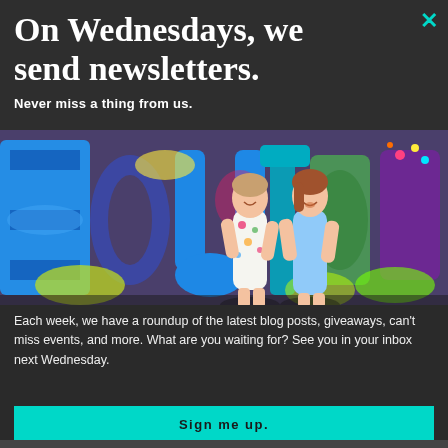On Wednesdays, we send newsletters.
Never miss a thing from us.
[Figure (photo): Two smiling women standing in front of a colorful Houston graffiti mural with blue, green, purple, and yellow lettering.]
Each week, we have a roundup of the latest blog posts, giveaways, can't miss events, and more. What are you waiting for? See you in your inbox next Wednesday.
Sign me up.